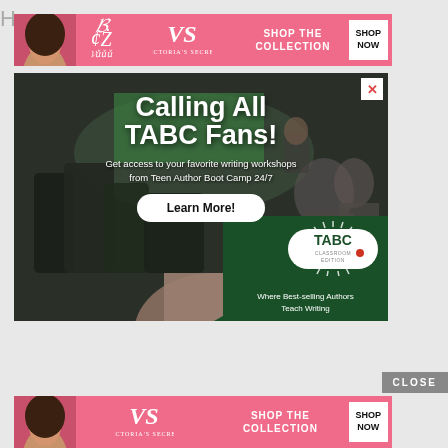How to...
[Figure (photo): Victoria's Secret advertisement banner with pink background, VS logo, SHOP THE COLLECTION text and SHOP NOW button]
[Figure (photo): TABC (Teen Author Boot Camp) advertisement modal overlay. Background shows students at writing workshop. Text: Calling All TABC Fans! Get access to your favorite writing workshops from Teen Author Boot Camp 24/7. Learn More! button. TABC Classroom Edition logo with tagline: Where Best-selling Authors Teach Writing. X close button in top right.]
CLOSE
[Figure (photo): Second Victoria's Secret advertisement banner identical to the top one, pink background with model, VS logo, SHOP THE COLLECTION, SHOP NOW button]